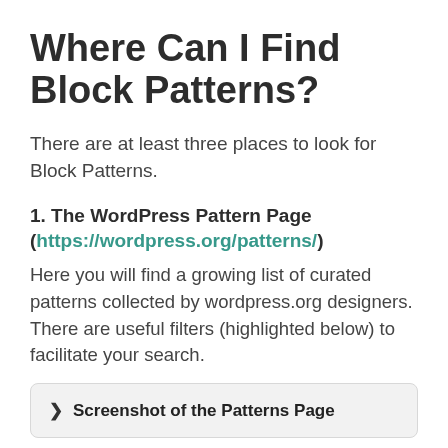Where Can I Find Block Patterns?
There are at least three places to look for Block Patterns.
1. The WordPress Pattern Page (https://wordpress.org/patterns/)
Here you will find a growing list of curated patterns collected by wordpress.org designers. There are useful filters (highlighted below) to facilitate your search.
Screenshot of the Patterns Page
2. GutenbergHub (https://builder.gutenberghub.com)